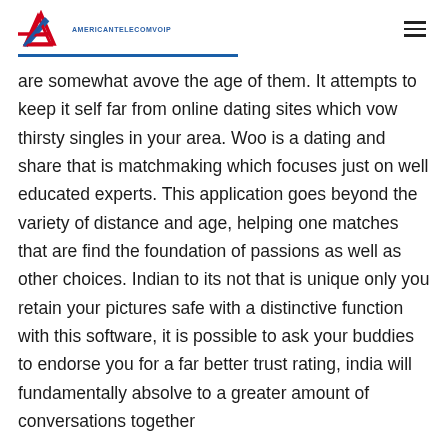AMERICANTELECOMVOIP
are somewhat avove the age of them. It attempts to keep it self far from online dating sites which vow thirsty singles in your area. Woo is a dating and share that is matchmaking which focuses just on well educated experts. This application goes beyond the variety of distance and age, helping one matches that are find the foundation of passions as well as other choices. Indian to its not that is unique only you retain your pictures safe with a distinctive function with this software, it is possible to ask your buddies to endorse you for a far better trust rating, india will fundamentally absolve to a greater amount of conversations together with you at close. There after, you can ask a